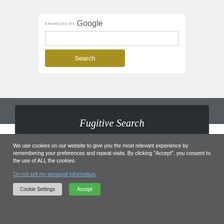[Figure (screenshot): Enhanced by Google search widget with a search input box and a gold/olive Search button]
Fugitive Search
We use cookies on our website to give you the most relevant experience by remembering your preferences and repeat visits. By clicking “Accept”, you consent to the use of ALL the cookies.
Do not sell my personal information.